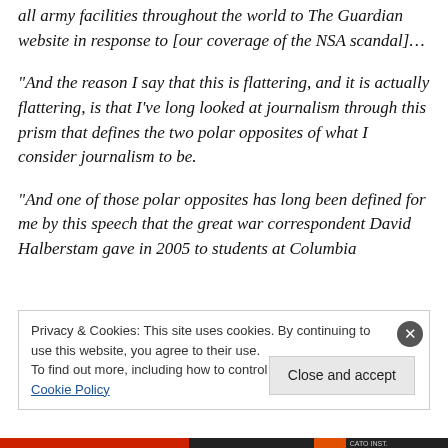all army facilities throughout the world to The Guardian website in response to [our coverage of the NSA scandal]…
“And the reason I say that this is flattering, and it is actually flattering, is that I’ve long looked at journalism through this prism that defines the two polar opposites of what I consider journalism to be.
“And one of those polar opposites has long been defined for me by this speech that the great war correspondent David Halberstam gave in 2005 to students at Columbia
Privacy & Cookies: This site uses cookies. By continuing to use this website, you agree to their use.
To find out more, including how to control cookies, see here: Cookie Policy